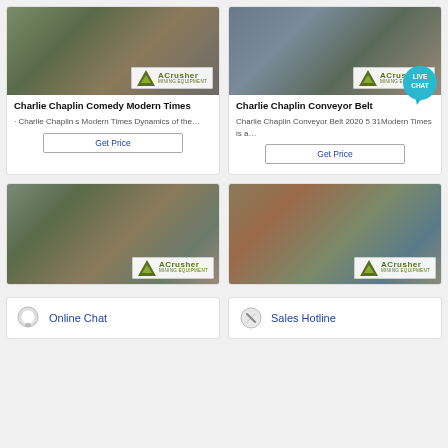[Figure (photo): Mining equipment site photo with ACrusher Mining Equipment logo overlay]
Charlie Chaplin Comedy Modern Times
· Charlie Chaplin s Modern Times Dynamics of the…
[Figure (photo): Mining/crushing plant aerial photo with ACrusher Mining Equipment logo overlay and Live Chat bubble]
Charlie Chaplin Conveyor Belt
Charlie Chaplin Conveyor Belt 2020 5 31Modern Times is a…
[Figure (photo): Quarry conveyor and crusher equipment photo with ACrusher Mining Equipment logo]
[Figure (photo): Large industrial crushing plant building photo with ACrusher Mining Equipment logo]
Online Chat
Sales Hotline